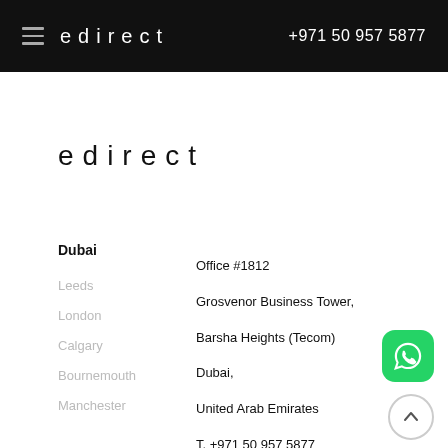edirect  +971 50 957 5877
edirect
Dubai
Leeds
London
Calgary
Bournemouth
Manchester
Office #1812
Grosvenor Business Tower,
Barsha Heights (Tecom)
Dubai,
United Arab Emirates
T. +971 50 957 5877
E. info@edirect.ae